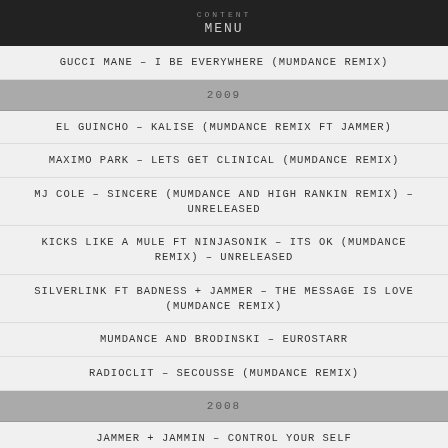MENU
GUCCI MANE – I BE EVERYWHERE (MUMDANCE REMIX)
2009
EL GUINCHO – KALISE (MUMDANCE REMIX FT JAMMER)
MAXIMO PARK – LETS GET CLINICAL (MUMDANCE REMIX)
MJ COLE – SINCERE (MUMDANCE AND HIGH RANKIN REMIX) – UNRELEASED
KICKS LIKE A MULE FT NINJASONIK – ITS OK (MUMDANCE REMIX) – UNRELEASED
SILVERLINK FT BADNESS + JAMMER – THE MESSAGE IS LOVE (MUMDANCE REMIX)
MUMDANCE AND BRODINSKI – EUROSTARR
RADIOCLIT – SECOUSSE (MUMDANCE REMIX)
2008
JAMMER + JAMMIN – CONTROL YOUR SELF